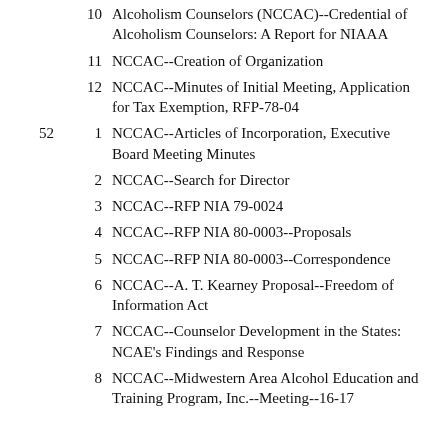10 — Alcoholism Counselors (NCCAC)--Credential of Alcoholism Counselors: A Report for NIAAA
11 — NCCAC--Creation of Organization
12 — NCCAC--Minutes of Initial Meeting, Application for Tax Exemption, RFP-78-04
52 / 1 — NCCAC--Articles of Incorporation, Executive Board Meeting Minutes
2 — NCCAC--Search for Director
3 — NCCAC--RFP NIA 79-0024
4 — NCCAC--RFP NIA 80-0003--Proposals
5 — NCCAC--RFP NIA 80-0003--Correspondence
6 — NCCAC--A. T. Kearney Proposal--Freedom of Information Act
7 — NCCAC--Counselor Development in the States: NCAE's Findings and Response
8 — NCCAC--Midwestern Area Alcohol Education and Training Program, Inc.--Meeting--16-17